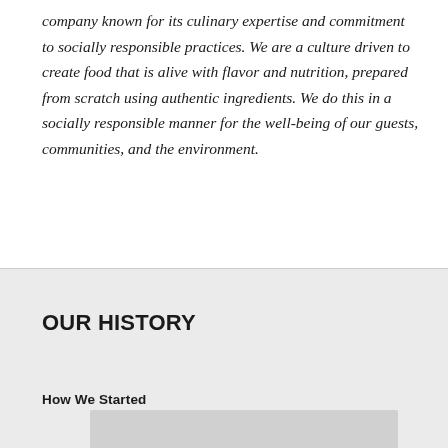company known for its culinary expertise and commitment to socially responsible practices. We are a culture driven to create food that is alive with flavor and nutrition, prepared from scratch using authentic ingredients. We do this in a socially responsible manner for the well-being of our guests, communities, and the environment.
OUR HISTORY
How We Started
↑ Back to Top